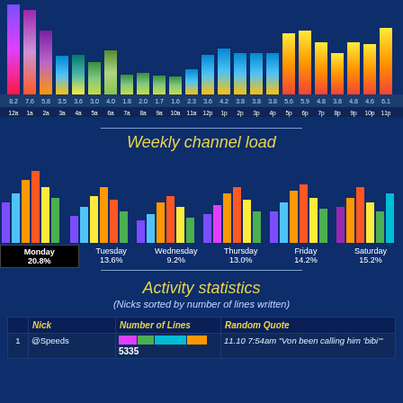[Figure (bar-chart): Hourly channel load]
Weekly channel load
[Figure (grouped-bar-chart): Weekly channel load]
Activity statistics
(Nicks sorted by number of lines written)
| Nick | Number of Lines | Random Quote |
| --- | --- | --- |
| @Speeds | 5335 | 11.10 7:54am "Von been calling him 'bibi'" |